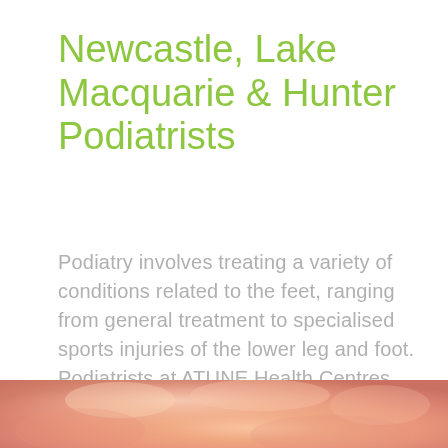Newcastle, Lake Macquarie & Hunter Podiatrists
Podiatry involves treating a variety of conditions related to the feet, ranging from general treatment to specialised sports injuries of the lower leg and foot. Podiatrists at ATUNE Health Centres treat patients from the Newcastle & Lake Macquarie area at the Warners Bay centre.
[Figure (photo): Close-up photograph of human toes/feet, warm skin tones in pink and peach]